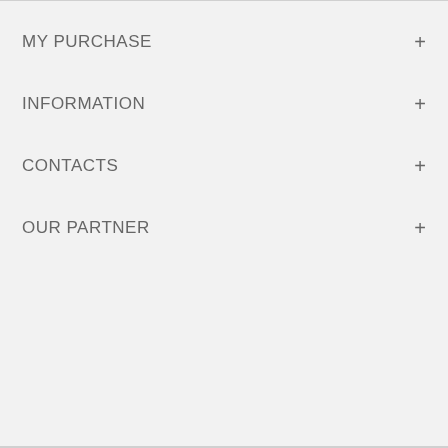MY PURCHASE +
INFORMATION +
CONTACTS +
OUR PARTNER +